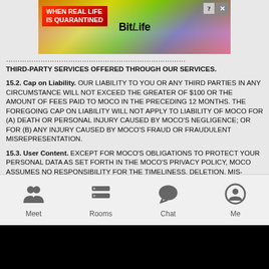[Figure (screenshot): BitLife advertisement banner with rainbow gradient and 'WHEN REAL LIFE IS QUARANTINED' text]
THIRD-PARTY SERVICES OFFERED THROUGH OUR SERVICES.
15.2. Cap on Liability. OUR LIABILITY TO YOU OR ANY THIRD PARTIES IN ANY CIRCUMSTANCE WILL NOT EXCEED THE GREATER OF $100 OR THE AMOUNT OF FEES PAID TO MOCO IN THE PRECEDING 12 MONTHS. THE FOREGOING CAP ON LIABILITY WILL NOT APPLY TO LIABILITY OF MOCO FOR (A) DEATH OR PERSONAL INJURY CAUSED BY MOCO'S NEGLIGENCE; OR FOR (B) ANY INJURY CAUSED BY MOCO'S FRAUD OR FRAUDULENT MISREPRESENTATION.
15.3. User Content. EXCEPT FOR MOCO'S OBLIGATIONS TO PROTECT YOUR PERSONAL DATA AS SET FORTH IN THE MOCO'S PRIVACY POLICY, MOCO ASSUMES NO RESPONSIBILITY FOR THE TIMELINESS, DELETION, MIS-DELIVERY OR FAILURE TO STORE ANY CONTENT (INCLUDING, BUT NOT LIMITED TO, YOUR CONTENT AND USER CONTENT), USER COMMUNICATIONS OR PERSONALIZATION SETTINGS.
[Figure (screenshot): Mobile app navigation bar with Meet, Rooms, Chat, Me icons]